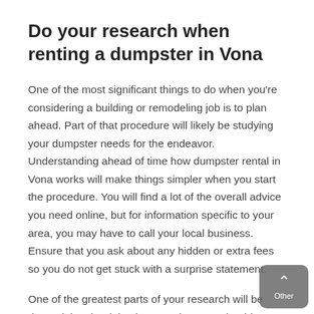Do your research when renting a dumpster in Vona
One of the most significant things to do when you're considering a building or remodeling job is to plan ahead. Part of that procedure will likely be studying your dumpster needs for the endeavor. Understanding ahead of time how dumpster rental in Vona works will make things simpler when you start the procedure. You will find a lot of the overall advice you need online, but for information specific to your area, you may have to call your local business. Ensure that you ask about any hidden or extra fees so you do not get stuck with a surprise statement.
One of the greatest parts of your research will be determining the right size container you should rent based on the size of the project. This is going to be your largest cost, so ensure you get a size that is large enough to survive for the whole endeavor.